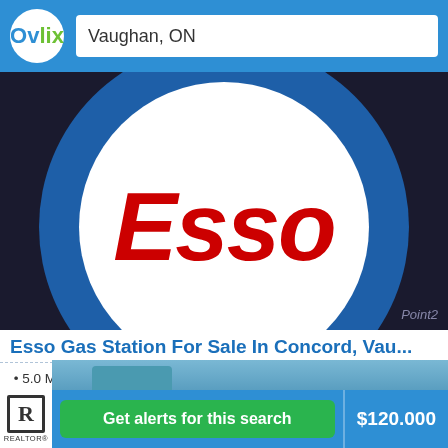Ovlix — Vaughan, ON
[Figure (photo): Esso gas station sign — large circular blue and white sign with red ESSO text, watermark reading Point2]
Esso Gas Station For Sale In Concord, Vau...
• 5.0 Million Litre Fuel sale\r• $ 1.2 Million C-STORE\r• Lotto 600 k and Rental Income ...
Commercial For Sale • 22 Days
Get alerts for this search
$120.000